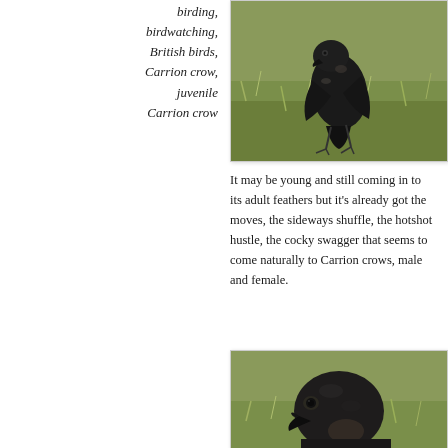birding,
birdwatching,
British birds,
Carrion crow,
juvenile Carrion crow
[Figure (photo): A juvenile Carrion crow walking on grass, facing camera, black feathers with some mottling.]
It may be young and still coming in to its adult feathers but it’s already got the moves, the sideways shuffle, the hotshot hustle, the cocky swagger that seems to come naturally to Carrion crows, male and female.
[Figure (photo): Close-up of a juvenile Carrion crow’s head and upper body, dark brownish-black plumage, against a grassy background.]